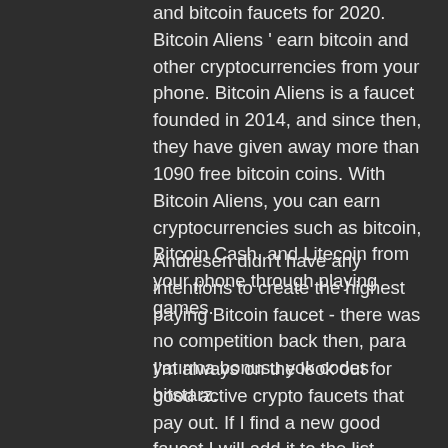and bitcoin faucets for 2020. Bitcoin Aliens ' earn bitcoin and other cryptocurrencies from your phone. Bitcoin Aliens is a faucet founded in 2014, and since then, they have given away more than 1090 free bitcoin coins. With Bitcoin Aliens, you can earn cryptocurrencies such as bitcoin, Bitcoin Cash, and Litecoin from your phone through playing games.
Andresen didn't have any intentions to create the highest paying Bitcoin faucet - there was no competition back then, para yatırma bonusu yok codes bitstarz.
I'm always on the look out for good active crypto faucets that pay out. If I find a new good faucet I will add it to the list. Bitcoin faucet is one of the easiest methods to get bitcoins free without spending a penny, para yatırma bonusu yok codes bitstarz.
Bitstarz регистрация
Info forum - profil člana &th profil stranice